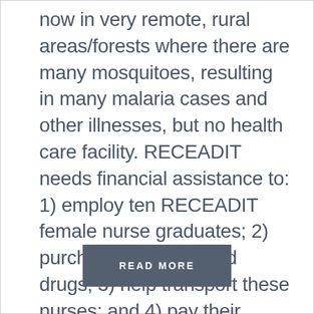now in very remote, rural areas/forests where there are many mosquitoes, resulting in many malaria cases and other illnesses, but no health care facility. RECEADIT needs financial assistance to: 1) employ ten RECEADIT female nurse graduates; 2) purchase more needed drugs; 3) help transport these nurses; and 4) pay their salaries to travel 70 miles in bushes to provide health care.
READ MORE